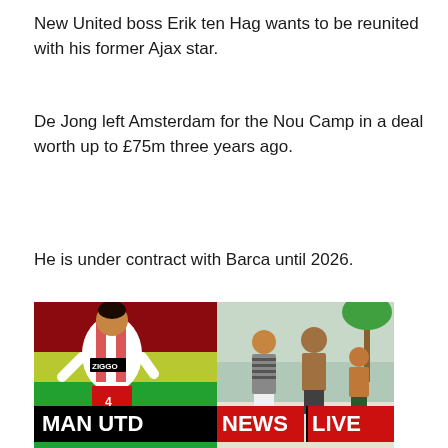New United boss Erik ten Hag wants to be reunited with his former Ajax star.
De Jong left Amsterdam for the Nou Camp in a deal worth up to £75m three years ago.
He is under contract with Barca until 2026.
[Figure (photo): Composite image showing top panel: Ajax footballer in red/white Ziggo jersey (left) and group of people on a beach (right), with 'MAN UTD NEWS LIVE' banner overlaid in black and red. Bottom panel: 7Days Performance ad (left) and WIN A MERCEDES A45S AMG promotion on dark background (right).]